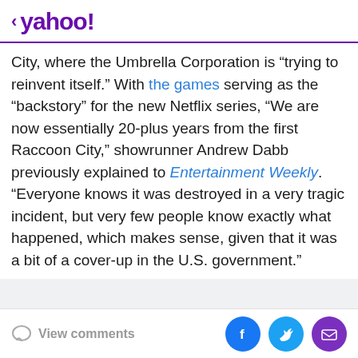< yahoo!
City, where the Umbrella Corporation is “trying to reinvent itself.” With the games serving as the “backstory” for the new Netflix series, “We are now essentially 20-plus years from the first Raccoon City,” showrunner Andrew Dabb previously explained to Entertainment Weekly. “Everyone knows it was destroyed in a very tragic incident, but very few people know exactly what happened, which makes sense, given that it was a bit of a cover-up in the U.S. government.”
View comments